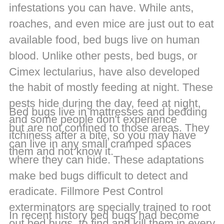infestations you can have. While ants, roaches, and even mice are just out to eat available food, bed bugs live on human blood. Unlike other pests, bed bugs, or Cimex lectularius, have also developed the habit of mostly feeding at night. These pests hide during the day, feed at night, and some people don't experience itchiness after a bite, so you may have them and not know it.
Bed bugs live in mattresses and bedding but are not confined to those areas. They can live in any small cramped spaces where they can hide. These adaptations make bed bugs difficult to detect and eradicate. Fillmore Pest Control exterminators are specially trained to root out bed bugs, to find and kill them in every place where they live.
In recent history bed bugs had become rare in the